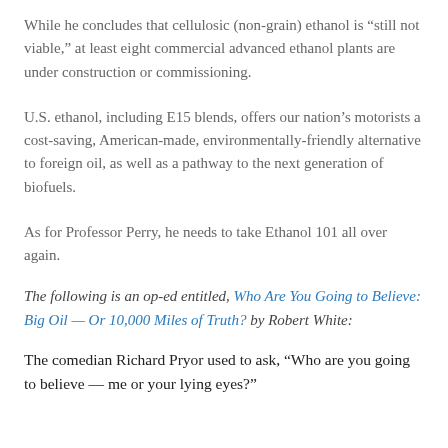While he concludes that cellulosic (non-grain) ethanol is “still not viable,” at least eight commercial advanced ethanol plants are under construction or commissioning.
U.S. ethanol, including E15 blends, offers our nation’s motorists a cost-saving, American-made, environmentally-friendly alternative to foreign oil, as well as a pathway to the next generation of biofuels.
As for Professor Perry, he needs to take Ethanol 101 all over again.
The following is an op-ed entitled, Who Are You Going to Believe: Big Oil — Or 10,000 Miles of Truth? by Robert White:
The comedian Richard Pryor used to ask, “Who are you going to believe — me or your lying eyes?”